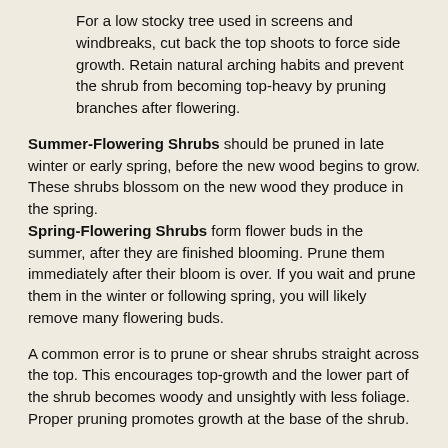For a low stocky tree used in screens and windbreaks, cut back the top shoots to force side growth. Retain natural arching habits and prevent the shrub from becoming top-heavy by pruning branches after flowering.
Summer-Flowering Shrubs should be pruned in late winter or early spring, before the new wood begins to grow. These shrubs blossom on the new wood they produce in the spring. Spring-Flowering Shrubs form flower buds in the summer, after they are finished blooming. Prune them immediately after their bloom is over. If you wait and prune them in the winter or following spring, you will likely remove many flowering buds.
A common error is to prune or shear shrubs straight across the top. This encourages top-growth and the lower part of the shrub becomes woody and unsightly with less foliage. Proper pruning promotes growth at the base of the shrub.
Observe your plants and see what they need. Some shrubs benefit from aggressive pruning each year and might even respond well to being cut all the way back to the ground; others will respond by delaying fruit or blossom. Some plants thrive with little or no pruning.
Overgrown shrubs with little foliage near the base may be rejuvenated by